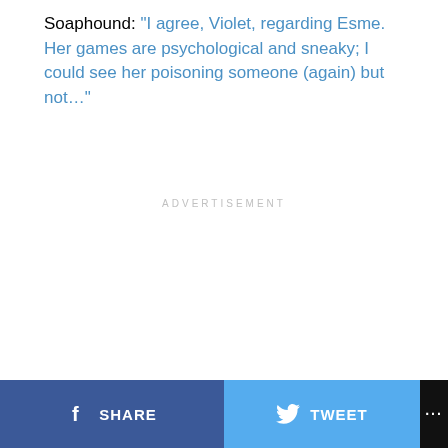Soaphound: "I agree, Violet, regarding Esme. Her games are psychological and sneaky; I could see her poisoning someone (again) but not…"
ADVERTISEMENT
[Figure (other): Social media share bar at bottom: Facebook SHARE button (dark blue), Twitter TWEET button (light blue), and a more options button (black with three dots)]